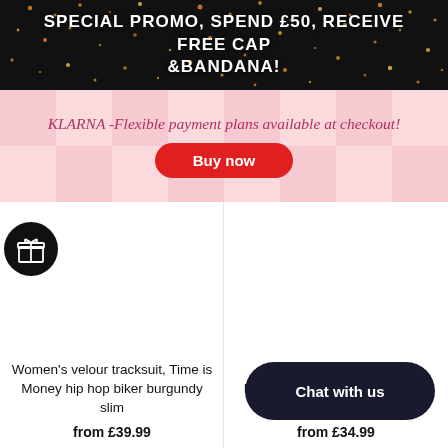SPECIAL PROMO, SPEND £50, RECEIVE FREE CAP &BANDANA!
KLARNA -Flexible payment plans available at checkout!
Buy now
[Figure (other): Gift icon circle button on left side]
Women's velour tracksuit, Time is Money hip hop biker burgundy slim
from £39.99
Ladies velour tracksuit, Time is Money biker (partially obscured)
from £34.99
Chat with us